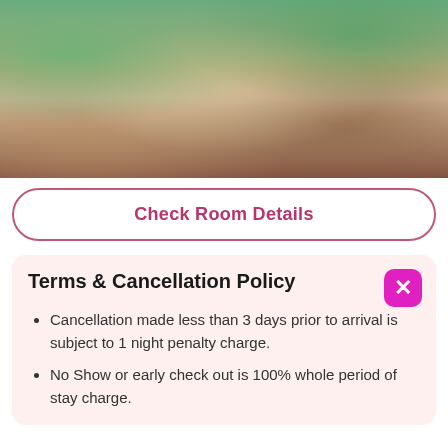[Figure (photo): Hotel room with white beds and orange accent pillows, surrounded by tropical greenery with ocean view in the background, open-air bungalow style]
Check Room Details
Terms & Cancellation Policy
Cancellation made less than 3 days prior to arrival is subject to 1 night penalty charge.
No Show or early check out is 100% whole period of stay charge.